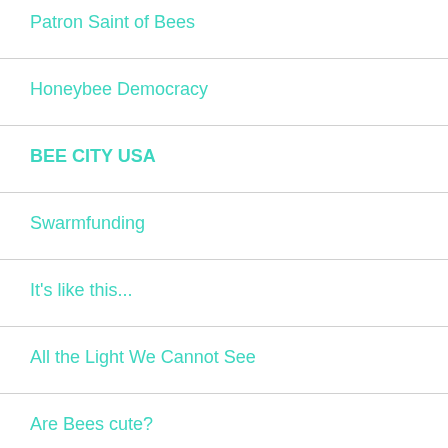Patron Saint of Bees
Honeybee Democracy
BEE CITY USA
Swarmfunding
It's like this...
All the Light We Cannot See
Are Bees cute?